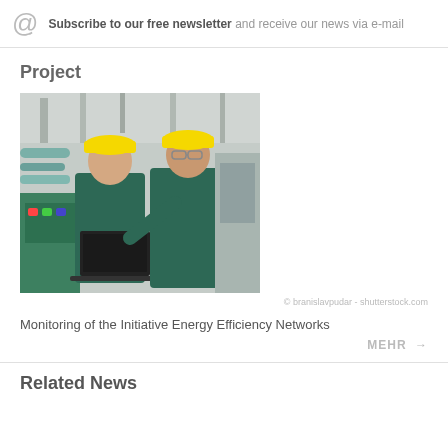Subscribe to our free newsletter and receive our news via e-mail
Project
[Figure (photo): Two workers in green uniforms and yellow hard hats looking at a laptop in an industrial facility]
© branislavpudar - shutterstock.com
Monitoring of the Initiative Energy Efficiency Networks
MEHR →
Related News